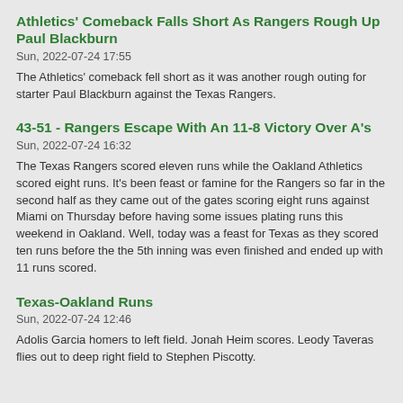Athletics' Comeback Falls Short As Rangers Rough Up Paul Blackburn
Sun, 2022-07-24 17:55
The Athletics' comeback fell short as it was another rough outing for starter Paul Blackburn against the Texas Rangers.
43-51 - Rangers Escape With An 11-8 Victory Over A's
Sun, 2022-07-24 16:32
The Texas Rangers scored eleven runs while the Oakland Athletics scored eight runs. It's been feast or famine for the Rangers so far in the second half as they came out of the gates scoring eight runs against Miami on Thursday before having some issues plating runs this weekend in Oakland. Well, today was a feast for Texas as they scored ten runs before the the 5th inning was even finished and ended up with 11 runs scored.
Texas-Oakland Runs
Sun, 2022-07-24 12:46
Adolis Garcia homers to left field. Jonah Heim scores. Leody Taveras flies out to deep right field to Stephen Piscotty.